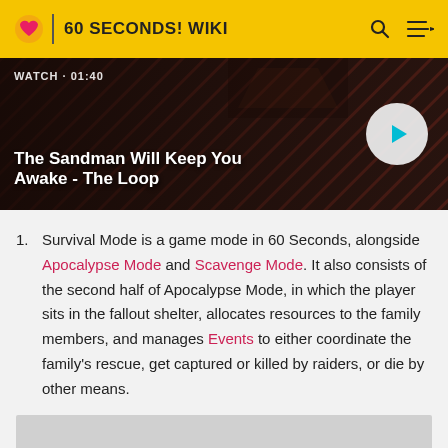60 SECONDS! WIKI
[Figure (screenshot): Video banner showing 'The Sandman Will Keep You Awake - The Loop' with a play button, WATCH · 01:40 label, dark background with diagonal pattern]
Survival Mode is a game mode in 60 Seconds, alongside Apocalypse Mode and Scavenge Mode. It also consists of the second half of Apocalypse Mode, in which the player sits in the fallout shelter, allocates resources to the family members, and manages Events to either coordinate the family's rescue, get captured or killed by raiders, or die by other means.
[Figure (photo): Partially visible image at the bottom of the page, gray placeholder]